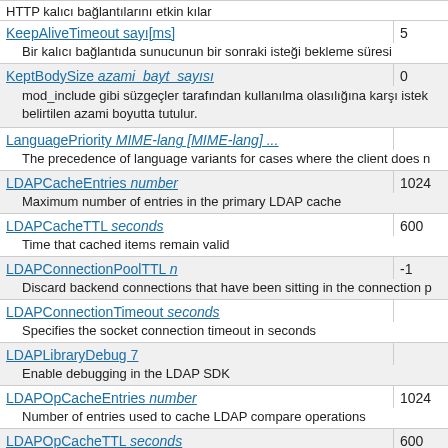KeepAliveTimeout sayı[ms] | 5
Bir kalıcı bağlantıda sunucunun bir sonraki isteği bekleme süresi
KeptBodySize azami_bayt_sayısı | 0
mod_include gibi süzgeçler tarafından kullanılma olasılığına karşı istek belirtilen azami boyutta tutulur.
LanguagePriority MIME-lang [MIME-lang] ...
The precedence of language variants for cases where the client does n
LDAPCacheEntries number | 1024
Maximum number of entries in the primary LDAP cache
LDAPCacheTTL seconds | 600
Time that cached items remain valid
LDAPConnectionPoolTTL n | -1
Discard backend connections that have been sitting in the connection p
LDAPConnectionTimeout seconds
Specifies the socket connection timeout in seconds
LDAPLibraryDebug 7
Enable debugging in the LDAP SDK
LDAPOpCacheEntries number | 1024
Number of entries used to cache LDAP compare operations
LDAPOpCacheTTL seconds | 600
Time that entries in the operation cache remain valid
LDAPReferralHopLimit number